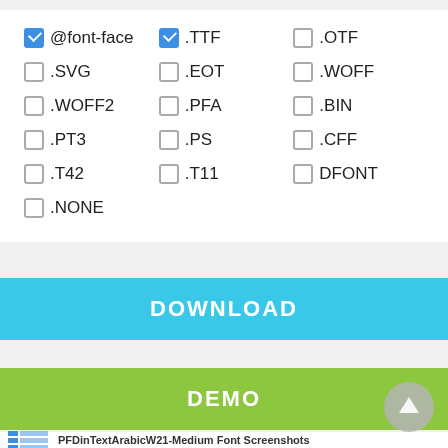@font-face (checked)
.TTF (checked)
.OTF (unchecked)
.SVG (unchecked)
.EOT (unchecked)
.WOFF (unchecked)
.WOFF2 (unchecked)
.PFA (unchecked)
.BIN (unchecked)
.PT3 (unchecked)
.PS (unchecked)
.CFF (unchecked)
.T42 (unchecked)
.T11 (unchecked)
DFONT (unchecked)
.NONE (unchecked)
DOWNLOAD
DEMO
PFDinTextArabicW21-Medium Font Screenshots